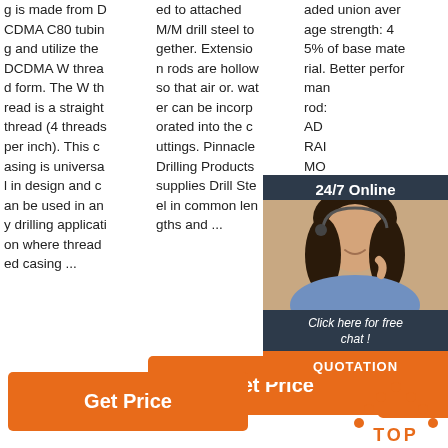g is made from DCDMA C80 tubing and utilize the DCDMA W thread form. The W thread is a straight thread (4 threads per inch). This casing is universal in design and can be used in any drilling application where threaded casing ...
ed to attached M/M drill steel together. Extension rods are hollow so that air or. water can be incorporated into the cuttings. Pinnacle Drilling Products supplies Drill Steel in common lengths and ...
aded union average strength: 45% of base material. Better performance rods: AD RAMMER MO m d
[Figure (photo): Customer service representative with headset smiling, overlaid on dark chat widget with '24/7 Online', 'Click here for free chat!', and 'QUOTATION' button]
Get Price
Get Price
Get Price
[Figure (illustration): Orange dotted upward arrow icon with TOP text below in orange]